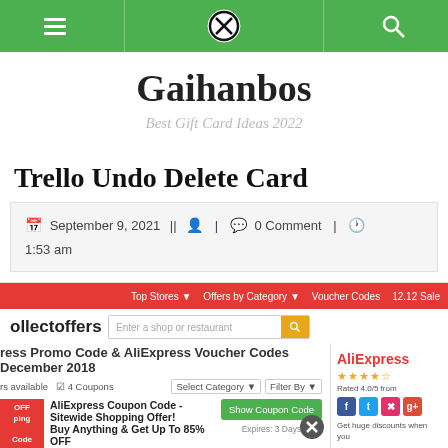Navigation bar with menu, close, and search icons
Gaihanbos
Best Gift Card Ideas 2022
Trello Undo Delete Card
September 9, 2021 | | | 0 Comment | 1:53 am
[Figure (screenshot): Screenshot of collectoffers website showing AliExpress Promo Code & Voucher Codes December 2018, with a coupon for AliExpress Sitewide Shopping Offer - Buy Anything & Get Up To 85% OFF, and AliExpress logo on the right sidebar]